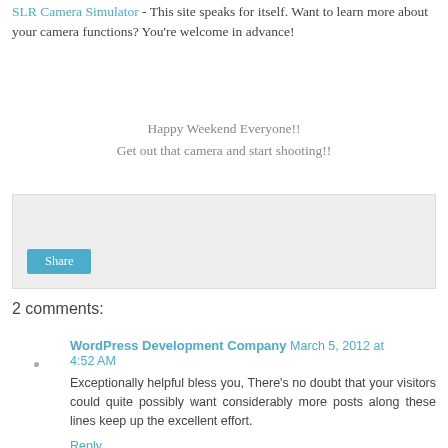SLR Camera Simulator - This site speaks for itself.  Want to learn more about your camera functions?  You're welcome in advance!
Happy Weekend Everyone!!
Get out that camera and start shooting!!
[Figure (other): Share button widget box with grey background and a teal Share button]
2 comments:
WordPress Development Company  March 5, 2012 at 4:52 AM
Exceptionally helpful bless you, There's no doubt that your visitors could quite possibly want considerably more posts along these lines keep up the excellent effort.
Reply